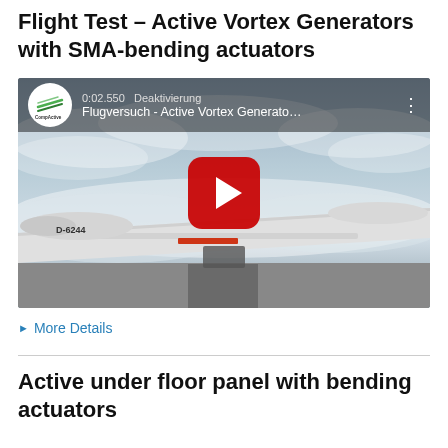Flight Test – Active Vortex Generators with SMA-bending actuators
[Figure (screenshot): YouTube video thumbnail showing a glider aircraft (D-6244) in flight above clouds. The video overlay shows the CompActive logo, timestamp 0:02.550, title 'Deaktivierung Flugversuch - Active Vortex Generato...' and a red YouTube play button in the center.]
▶ More Details
Active under floor panel with bending actuators